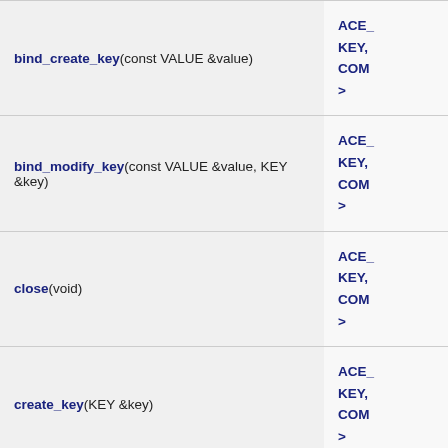| Method | Return Type |
| --- | --- |
| bind_create_key(const VALUE &value) | ACE_
KEY,
COM
> |
| bind_modify_key(const VALUE &value, KEY &key) | ACE_
KEY,
COM
> |
| close(void) | ACE_
KEY,
COM
> |
| create_key(KEY &key) | ACE_
KEY,
COM
> |
| current_size(void) const | ACE_
KEY,
COM
> |
| dump(void) const | ACE_
KEY,
COM
> |